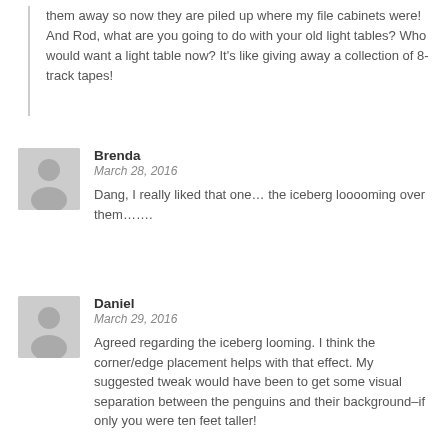them away so now they are piled up where my file cabinets were! And Rod, what are you going to do with your old light tables? Who would want a light table now? It's like giving away a collection of 8-track tapes!
Brenda
March 28, 2016
Dang, I really liked that one… the iceberg looooming over them…….
Daniel
March 29, 2016
Agreed regarding the iceberg looming. I think the corner/edge placement helps with that effect. My suggested tweak would have been to get some visual separation between the penguins and their background–if only you were ten feet taller!